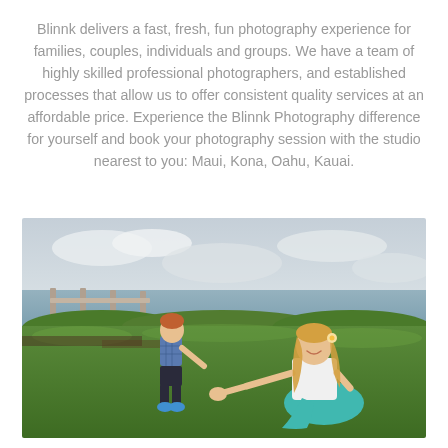Blinnk delivers a fast, fresh, fun photography experience for families, couples, individuals and groups. We have a team of highly skilled professional photographers, and established processes that allow us to offer consistent quality services at an affordable price. Experience the Blinnk Photography difference for yourself and book your photography session with the studio nearest to you: Maui, Kona, Oahu, Kauai.
[Figure (photo): A young toddler boy in a plaid shirt and dark shorts reaches toward a smiling woman kneeling on green grass. The woman has long blonde hair and wears a white top and teal skirt. They are outdoors near a wooden fence with ocean and cloudy sky in the background, surrounded by tropical greenery.]